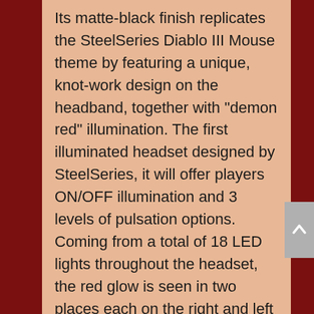Its matte-black finish replicates the SteelSeries Diablo III Mouse theme by featuring a unique, knot-work design on the headband, together with "demon red" illumination. The first illuminated headset designed by SteelSeries, it will offer players ON/OFF illumination and 3 levels of pulsation options. Coming from a total of 18 LED lights throughout the headset, the red glow is seen in two places each on the right and left side – surrounding the edge of each ear cup, and the three Diablo slashes.
The headset will also include SteelSeries' signature, uni-directional retractable microphone-system for clear voice communication through Battle.net®. Its in-